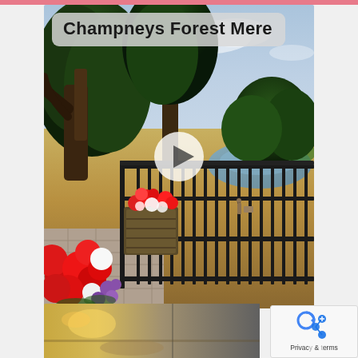[Figure (photo): Screenshot of a social media post showing a video thumbnail of Champneys Forest Mere spa resort. The main image shows an outdoor terrace with black iron railings, flower planters with red and white flowers, a large old tree, a sandy path, a lake in the background with green trees, and a cloudy sky. A white play button triangle is overlaid in the center. The title 'Champneys Forest Mere' appears in bold dark text on a semi-transparent grey rounded box at the top of the image. Below the main image is a partial second image showing an interior. A privacy/share badge appears in the bottom right corner.]